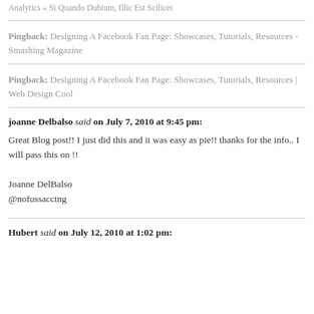Analytics « Si Quando Dubium, Illic Est Scilicet
Pingback: Designing A Facebook Fan Page: Showcases, Tutorials, Resources - Smashing Magazine
Pingback: Designing A Facebook Fan Page: Showcases, Tutorials, Resources | Web Design Cool
joanne Delbalso said on July 7, 2010 at 9:45 pm:
Great Blog post!! I just did this and it was easy as pie!! thanks for the info.. I will pass this on !!

Joanne DelBalso
@nofussacctng
Hubert said on July 12, 2010 at 1:02 pm: